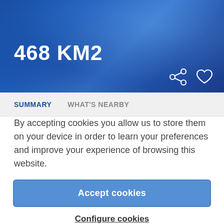468 KM2
SUMMARY    WHAT'S NEARBY
By accepting cookies you allow us to store them on your device in order to learn your preferences and improve your experience of browsing this website.
Accept cookies
Configure cookies